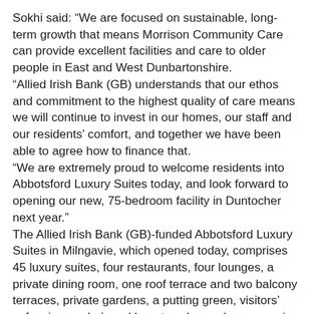Sokhi said: “We are focused on sustainable, long-term growth that means Morrison Community Care can provide excellent facilities and care to older people in East and West Dunbartonshire.
“Allied Irish Bank (GB) understands that our ethos and commitment to the highest quality of care means we will continue to invest in our homes, our staff and our residents’ comfort, and together we have been able to agree how to finance that.
“We are extremely proud to welcome residents into Abbotsford Luxury Suites today, and look forward to opening our new, 75-bedroom facility in Duntocher next year.”
The Allied Irish Bank (GB)-funded Abbotsford Luxury Suites in Milngavie, which opened today, comprises 45 luxury suites, four restaurants, four lounges, a private dining room, one roof terrace and two balcony terraces, private gardens, a putting green, visitors’ cafe, cinema, hair and beauty salon and a responsive, highly-trained care and clinical team.